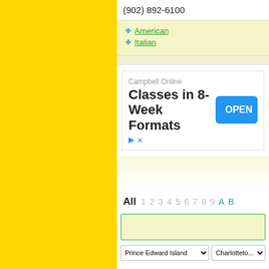(902) 892-6100
American
Italian
[Figure (screenshot): Advertisement for Campbell Online: Classes in 8-Week Formats with an OPEN button]
All 1 2 3 4 5 6 7 8 9 A B
Prince Edward Island  |  Charlotteto...